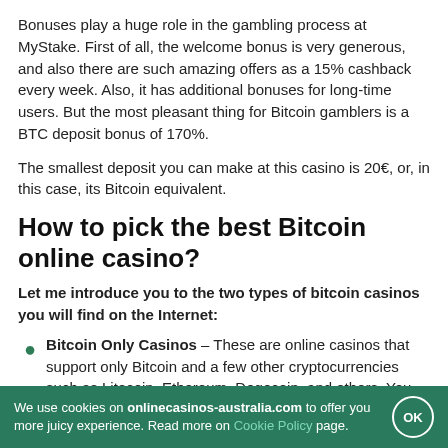Bonuses play a huge role in the gambling process at MyStake. First of all, the welcome bonus is very generous, and also there are such amazing offers as a 15% cashback every week. Also, it has additional bonuses for long-time users. But the most pleasant thing for Bitcoin gamblers is a BTC deposit bonus of 170%.
The smallest deposit you can make at this casino is 20€, or, in this case, its Bitcoin equivalent.
How to pick the best Bitcoin online casino?
Let me introduce you to the two types of bitcoin casinos you will find on the Internet:
Bitcoin Only Casinos – These are online casinos that support only Bitcoin and a few other cryptocurrencies such as Litecoin, Ethereum, Dogecoin, and others. You won't find support for any fiat currencies at these online casinos.
We use cookies on onlinecasinos-australia.com to offer you more juicy experience. Read more on Cookie Policy page.